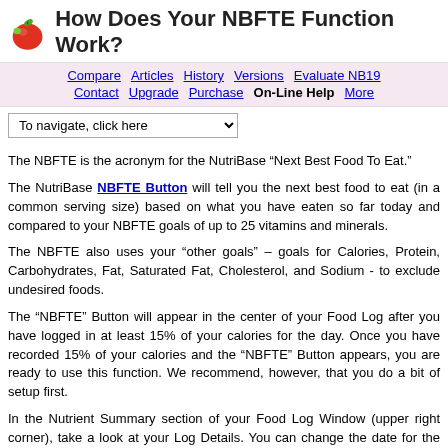How Does Your NBFTE Function Work?
Compare | Articles | History | Versions | Evaluate NB19 | Contact | Upgrade | Purchase | On-Line Help | More
To navigate, click here
The NBFTE is the acronym for the NutriBase “Next Best Food To Eat.”
The NutriBase NBFTE Button will tell you the next best food to eat (in a common serving size) based on what you have eaten so far today and compared to your NBFTE goals of up to 25 vitamins and minerals.
The NBFTE also uses your “other goals” – goals for Calories, Protein, Carbohydrates, Fat, Saturated Fat, Cholesterol, and Sodium - to exclude undesired foods.
The “NBFTE” Button will appear in the center of your Food Log after you have logged in at least 15% of your calories for the day. Once you have recorded 15% of your calories and the “NBFTE” Button appears, you are ready to use this function. We recommend, however, that you do a bit of setup first.
In the Nutrient Summary section of your Food Log Window (upper right corner), take a look at your Log Details. You can change the date for the day you are interested in working with. After you confirm the date is correct, click the Progress Tab at the bottom of this Nutrient Summary section to open your Progress Window: